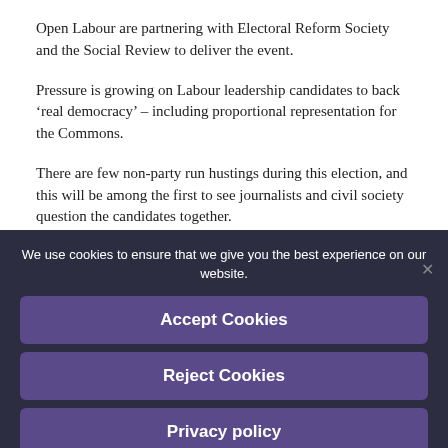Open Labour are partnering with Electoral Reform Society and the Social Review to deliver the event.
Pressure is growing on Labour leadership candidates to back ‘real democracy’ – including proportional representation for the Commons.
There are few non-party run hustings during this election, and this will be among the first to see journalists and civil society question the candidates together.
We use cookies to ensure that we give you the best experience on our website.
Accept Cookies
Reject Cookies
Privacy policy